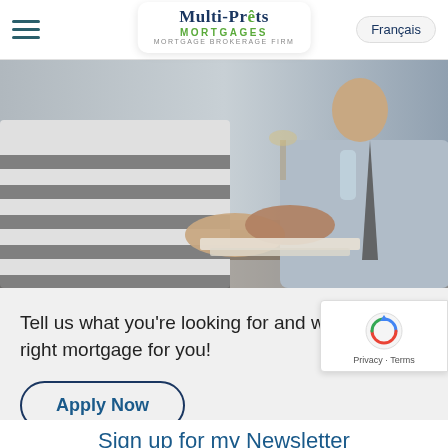Multi-Prêts MORTGAGES — MORTGAGE BROKERAGE FIRM | Français
[Figure (photo): Two people shaking hands across a desk in an office setting; one person wears a striped sweater, the other a shirt and tie.]
Tell us what you're looking for and we'll find the right mortgage for you!
Apply Now
Sign up for my Newsletter